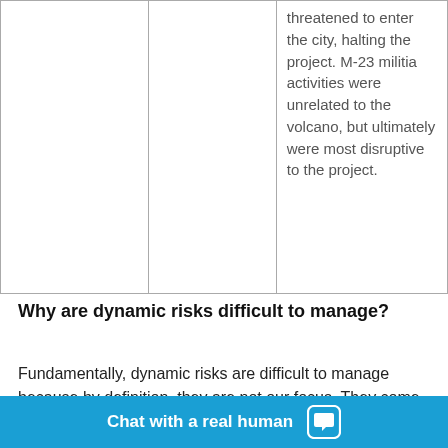|  |  | threatened to enter the city, halting the project. M-23 militia activities were unrelated to the volcano, but ultimately were most disruptive to the project. |
Why are dynamic risks difficult to manage?
Fundamentally, dynamic risks are difficult to manage because by definition, they are not our focus. They come on the heels of another risk - when we are in a we...